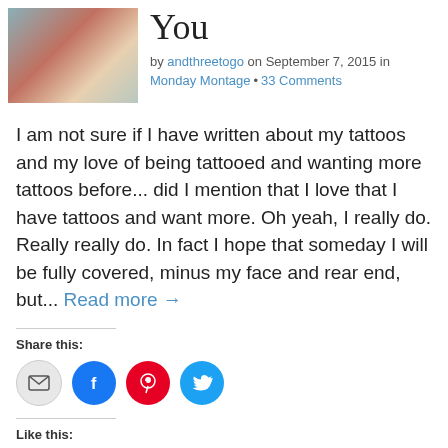[Figure (photo): Partial thumbnail image showing colorful tattoo artwork]
You
by andthreetogo on September 7, 2015 in Monday Montage • 33 Comments
I am not sure if I have written about my tattoos and my love of being tattooed and wanting more tattoos before... did I mention that I love that I have tattoos and want more. Oh yeah, I really do. Really really do. In fact I hope that someday I will be fully covered, minus my face and rear end, but... Read more →
Share this:
[Figure (illustration): Social share buttons: email, Facebook, Pinterest, Twitter]
Like this:
Loading...